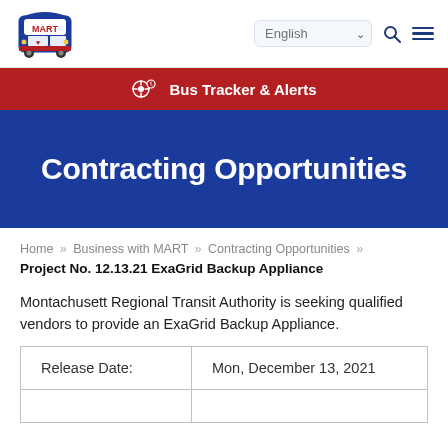MART | English | Search | Menu
Bus Tracker & Alerts
Contracting Opportunities
Home » Business with MART » Contracting Opportunities » Project No. 12.13.21 ExaGrid Backup Appliance
Montachusett Regional Transit Authority is seeking qualified vendors to provide an ExaGrid Backup Appliance.
| Release Date: | Mon, December 13, 2021 |
| --- | --- |